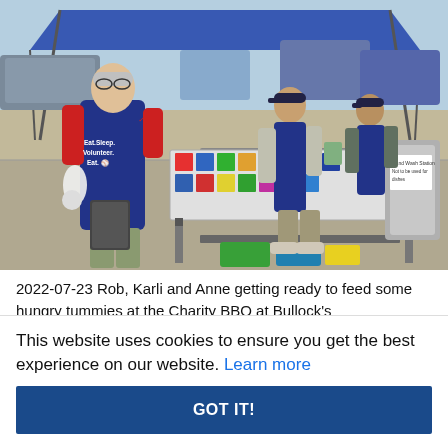[Figure (photo): Outdoor charity BBQ scene with volunteers in navy aprons reading 'Eat. Sleep. Volunteer. Repeat.' at a folding table with colorful tablecloth, food containers, and a handwashing station sign, in a parking lot setting.]
2022-07-23 Rob, Karli and Anne getting ready to feed some hungry tummies at the Charity BBQ at Bullock's
This website uses cookies to ensure you get the best experience on our website. Learn more
GOT IT!